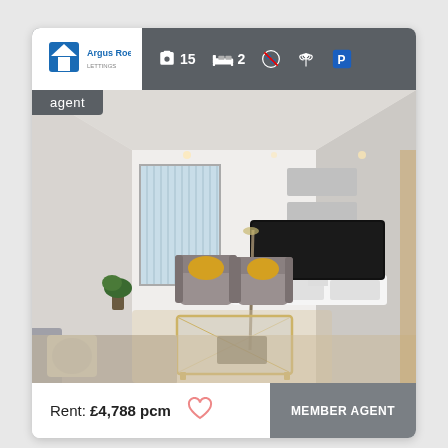[Figure (photo): Real estate listing card showing a modern furnished living room with grey sofa, two armchairs with yellow cushions, glass coffee table, large TV on white unit, and vertical blinds on window. Card has top bar with agent logo, photo count (15), bedroom count (2), and amenity icons. Bottom shows rent of £4,788 pcm and MEMBER AGENT badge.]